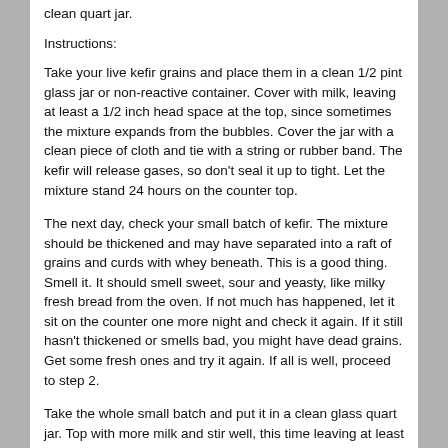clean quart jar.
Instructions:
Take your live kefir grains and place them in a clean 1/2 pint glass jar or non-reactive container. Cover with milk, leaving at least a 1/2 inch head space at the top, since sometimes the mixture expands from the bubbles. Cover the jar with a clean piece of cloth and tie with a string or rubber band. The kefir will release gases, so don't seal it up to tight. Let the mixture stand 24 hours on the counter top.
The next day, check your small batch of kefir. The mixture should be thickened and may have separated into a raft of grains and curds with whey beneath. This is a good thing. Smell it. It should smell sweet, sour and yeasty, like milky fresh bread from the oven. If not much has happened, let it sit on the counter one more night and check it again. If it still hasn't thickened or smells bad, you might have dead grains. Get some fresh ones and try it again. If all is well, proceed to step 2.
Take the whole small batch and put it in a clean glass quart jar. Top with more milk and stir well, this time leaving at least an inch of head space. Cover with cheese cloth and leave out over night. The next day, stir the kefir, then give it a taste. Some folks like a very mild kefir milk, others like it very sour and yeasty. Since I use mine